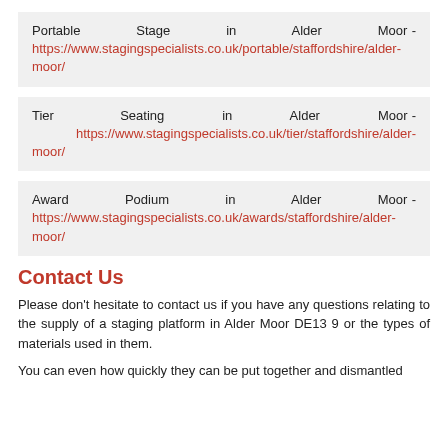Portable Stage in Alder Moor - https://www.stagingspecialists.co.uk/portable/staffordshire/alder-moor/
Tier Seating in Alder Moor - https://www.stagingspecialists.co.uk/tier/staffordshire/alder-moor/
Award Podium in Alder Moor - https://www.stagingspecialists.co.uk/awards/staffordshire/alder-moor/
Contact Us
Please don't hesitate to contact us if you have any questions relating to the supply of a staging platform in Alder Moor DE13 9 or the types of materials used in them.
You can even how quickly they can be put together and dismantled